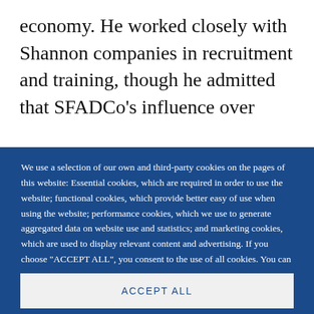economy. He worked closely with Shannon companies in recruitment and training, though he admitted that SFADCo's influence over
We use a selection of our own and third-party cookies on the pages of this website: Essential cookies, which are required in order to use the website; functional cookies, which provide better easy of use when using the website; performance cookies, which we use to generate aggregated data on website use and statistics; and marketing cookies, which are used to display relevant content and advertising. If you choose "ACCEPT ALL", you consent to the use of all cookies. You can accept and
ACCEPT ALL